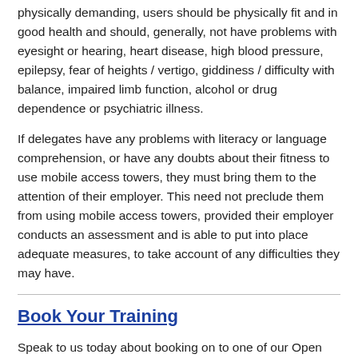physically demanding, users should be physically fit and in good health and should, generally, not have problems with eyesight or hearing, heart disease, high blood pressure, epilepsy, fear of heights / vertigo, giddiness / difficulty with balance, impaired limb function, alcohol or drug dependence or psychiatric illness.
If delegates have any problems with literacy or language comprehension, or have any doubts about their fitness to use mobile access towers, they must bring them to the attention of their employer. This need not preclude them from using mobile access towers, provided their employer conducts an assessment and is able to put into place adequate measures, to take account of any difficulties they may have.
Book Your Training
Speak to us today about booking on to one of our Open courses at our Training Centre on 0203 794 0798 or email us at info@rsc-training.co.uk